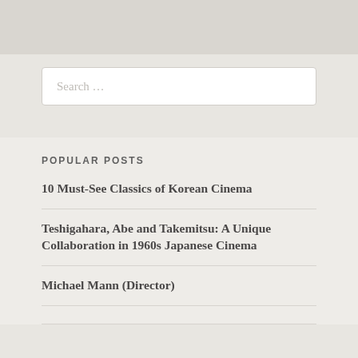[Figure (screenshot): Top gray banner bar]
[Figure (screenshot): Search input box with placeholder text 'Search ...']
POPULAR POSTS
10 Must-See Classics of Korean Cinema
Teshigahara, Abe and Takemitsu: A Unique Collaboration in 1960s Japanese Cinema
Michael Mann (Director)